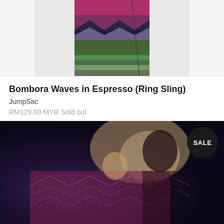[Figure (photo): Product photo of a colorful woven ring sling fabric with zigzag chevron pattern in purple, green, and pink tones, displayed hanging on a stand against a white background]
Bombora Waves in Espresso (Ring Sling)
JumpSac
RM129.00 MYR Sold out
[Figure (photo): Photo of a smiling woman carrying a sleeping baby on her back using a colorful woven wrap/ring sling with chevron pattern in purple, pink, green tones. A SALE badge is overlaid in the top right corner.]